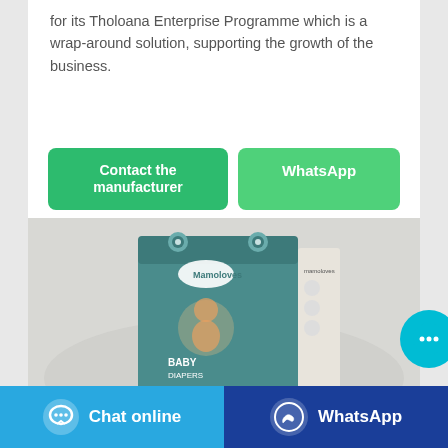for its Tholoana Enterprise Programme which is a wrap-around solution, supporting the growth of the business.
[Figure (other): Two green buttons side by side: 'Contact the manufacturer' and 'WhatsApp']
[Figure (photo): Product photo of Mamoloves Baby Diapers box, size 1 (2-5kg), teal/green packaging with a baby image, on a white background]
[Figure (other): Bottom bar with two buttons: 'Chat online' (blue) and 'WhatsApp' (dark blue), each with an icon]